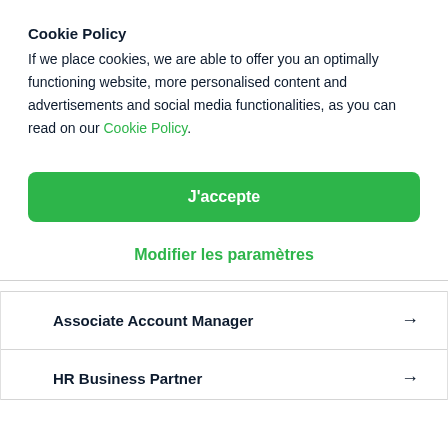Cookie Policy
If we place cookies, we are able to offer you an optimally functioning website, more personalised content and advertisements and social media functionalities, as you can read on our Cookie Policy.
[Figure (other): Green accept button labeled J'accepte]
Modifier les paramètres
Associate Account Manager →
HR Business Partner →